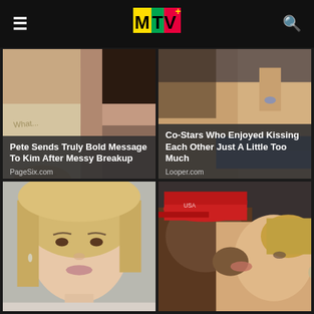MTV
[Figure (photo): Two people close up, one wearing a shirt with 'What' text, dark hair woman beside]
Pete Sends Truly Bold Message To Kim After Messy Breakup
PageSix.com
[Figure (photo): Two people kissing, one wearing blue scarf/bandana]
Co-Stars Who Enjoyed Kissing Each Other Just A Little Too Much
Looper.com
[Figure (photo): Blonde woman smiling, portrait photo]
[Figure (photo): Two people kissing, one wearing a red baseball cap]